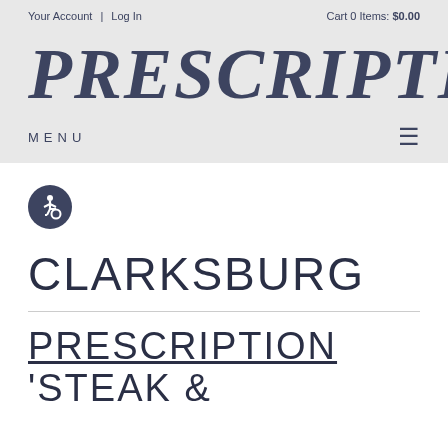Your Account | Log In   Cart 0 Items: $0.00
PRESCRIPTION
MENU ≡
[Figure (illustration): Wheelchair accessibility icon — white person-in-wheelchair symbol on dark circular background]
CLARKSBURG
PRESCRIPTION 'STEAK &